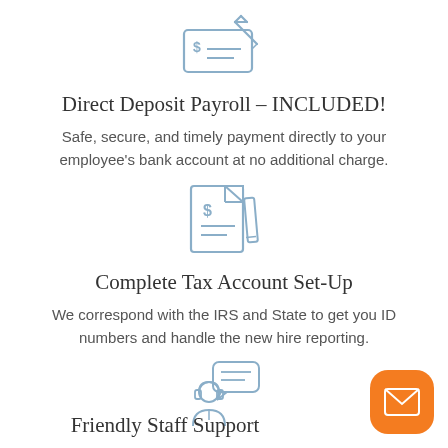[Figure (illustration): Icon of a check/cheque with a dollar sign and a pen writing on it, in light blue/steel color]
Direct Deposit Payroll – INCLUDED!
Safe, secure, and timely payment directly to your employee's bank account at no additional charge.
[Figure (illustration): Icon of a document/invoice with a dollar sign, lines of text, and a pencil, in light blue/steel color]
Complete Tax Account Set-Up
We correspond with the IRS and State to get you ID numbers and handle the new hire reporting.
[Figure (illustration): Icon of a customer support person with headset and a speech/chat bubble, in light blue/steel color]
Friendly Staff Support